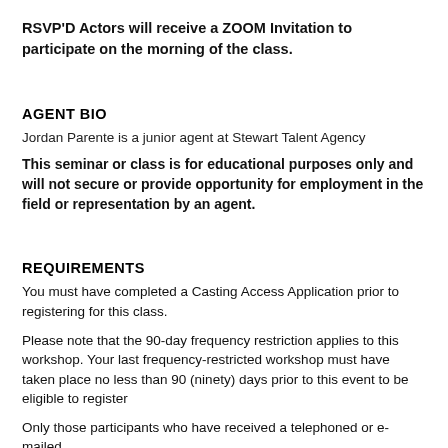RSVP'D Actors will receive a ZOOM Invitation to participate on the morning of the class.
AGENT BIO
Jordan Parente is a junior agent at Stewart Talent Agency
This seminar or class is for educational purposes only and will not secure or provide opportunity for employment in the field or representation by an agent.
REQUIREMENTS
You must have completed a Casting Access Application prior to registering for this class.
Please note that the 90-day frequency restriction applies to this workshop. Your last frequency-restricted workshop must have taken place no less than 90 (ninety) days prior to this event to be eligible to register
Only those participants who have received a telephoned or e-mailed